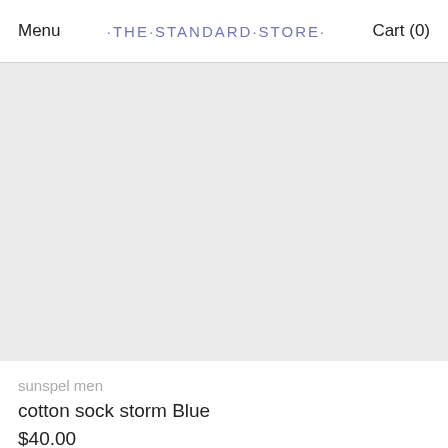Menu · THE · STANDARD · STORE · Cart (0)
[Figure (photo): Light gray product image placeholder area for cotton sock]
sunspel men
cotton sock storm Blue
$40.00